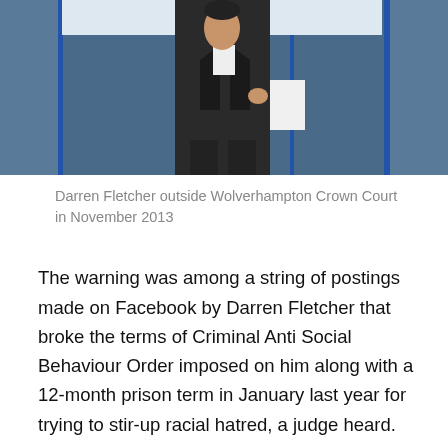[Figure (photo): Person in dark suit standing outside a building with blue-framed windows, holding papers]
Darren Fletcher outside Wolverhampton Crown Court in November 2013
The warning was among a string of postings made on Facebook by Darren Fletcher that broke the terms of Criminal Anti Social Behaviour Order imposed on him along with a 12-month prison term in January last year for trying to stir-up racial hatred, a judge heard.
In those days he was called Christopher Phillips but tried to hide his identity by later changing his name by deed poll and using the handle of Whitest Knight to put extremist comments on the internet after his release from jail, Wolverhampton Crown Court was told.